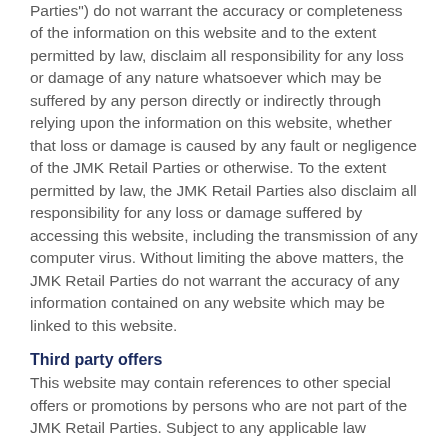Parties") do not warrant the accuracy or completeness of the information on this website and to the extent permitted by law, disclaim all responsibility for any loss or damage of any nature whatsoever which may be suffered by any person directly or indirectly through relying upon the information on this website, whether that loss or damage is caused by any fault or negligence of the JMK Retail Parties or otherwise. To the extent permitted by law, the JMK Retail Parties also disclaim all responsibility for any loss or damage suffered by accessing this website, including the transmission of any computer virus. Without limiting the above matters, the JMK Retail Parties do not warrant the accuracy of any information contained on any website which may be linked to this website.
Third party offers
This website may contain references to other special offers or promotions by persons who are not part of the JMK Retail Parties. Subject to any applicable law